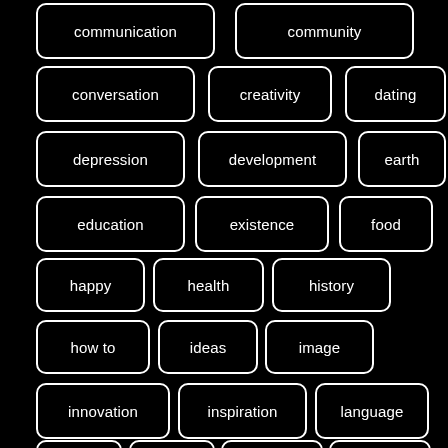communication
community
conversation
creativity
dating
depression
development
earth
education
existence
food
happy
health
history
how to
ideas
image
innovation
inspiration
language
life
love
peace
people